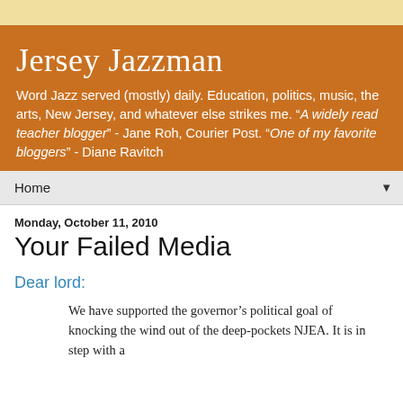Jersey Jazzman
Word Jazz served (mostly) daily. Education, politics, music, the arts, New Jersey, and whatever else strikes me. "A widely read teacher blogger" - Jane Roh, Courier Post. "One of my favorite bloggers" - Diane Ravitch
Home
Monday, October 11, 2010
Your Failed Media
Dear lord:
We have supported the governor's political goal of knocking the wind out of the deep-pockets NJEA. It is in step with a